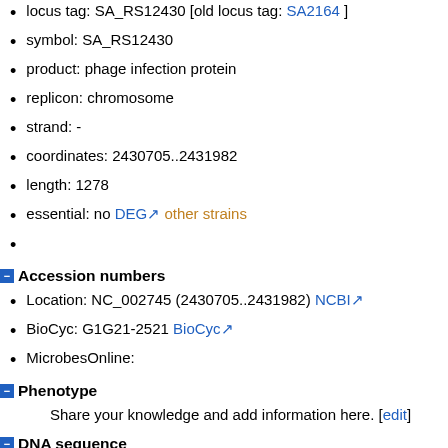locus tag: SA_RS12430 [old locus tag: SA2164]
symbol: SA_RS12430
product: phage infection protein
replicon: chromosome
strand: -
coordinates: 2430705..2431982
length: 1278
essential: no DEG [link] other strains [link]
Accession numbers
Location: NC_002745 (2430705..2431982) NCBI
BioCyc: G1G21-2521 BioCyc
MicrobesOnline:
Phenotype
Share your knowledge and add information here. [edit]
DNA sequence
1
61
121
181
241
301